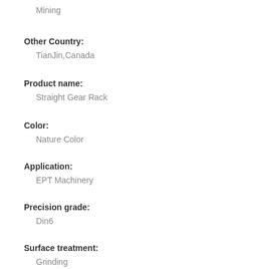Mining
Other Country:
TianJin,Canada
Product name:
Straight Gear Rack
Color:
Nature Color
Application:
EPT Machinery
Precision grade:
Din6
Surface treatment:
Grinding